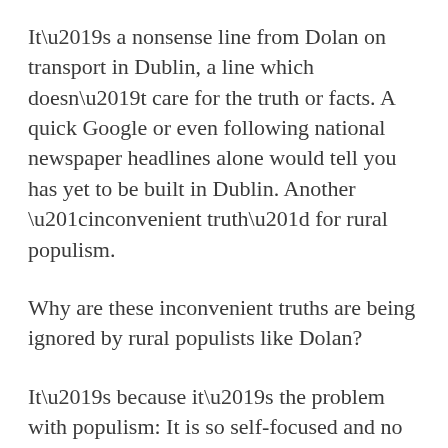It’s a nonsense line from Dolan on transport in Dublin, a line which doesn’t care for the truth or facts. A quick Google or even following national newspaper headlines alone would tell you has yet to be built in Dublin. Another “inconvenient truth” for rural populism.
Why are these inconvenient truths are being ignored by rural populists like Dolan?
It’s because it’s the problem with populism: It is so self-focused and no real sense of reality. I say that as somebody who can see the problems in Dublin and rural Ireland and see that we need solutions for both. Solutions will differ for different people. Do we need